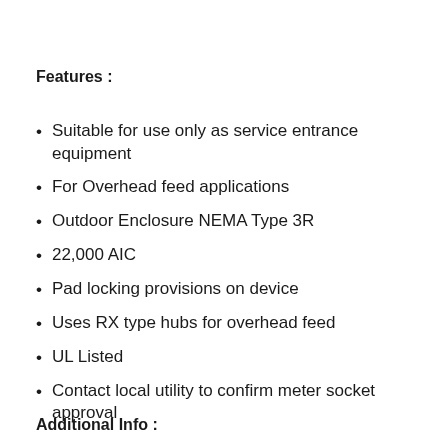Features :
Suitable for use only as service entrance equipment
For Overhead feed applications
Outdoor Enclosure NEMA Type 3R
22,000 AIC
Pad locking provisions on device
Uses RX type hubs for overhead feed
UL Listed
Contact local utility to confirm meter socket approval
Additional Info :